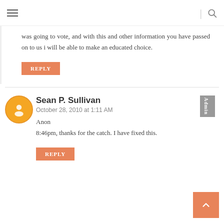≡  |  🔍
was going to vote, and with this and other information you have passed on to us i will be able to make an educated choice.
REPLY
Sean P. Sullivan
October 28, 2010 at 1:11 AM
Anon
8:46pm, thanks for the catch. I have fixed this.
REPLY